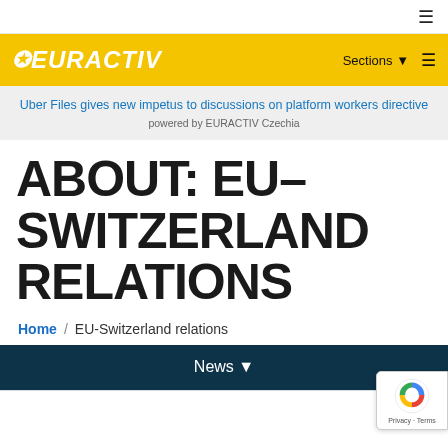≡ (hamburger menu icon)
[Figure (logo): EURACTIV logo on yellow background with Sections and hamburger menu]
Uber Files gives new impetus to discussions on platform workers directive powered by EURACTIV Czechia
ABOUT: EU-SWITZERLAND RELATIONS
Home / EU-Switzerland relations
News ▾